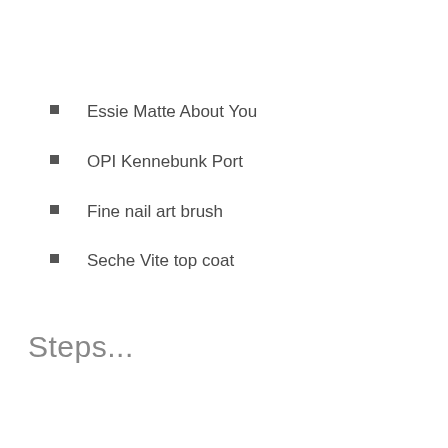Essie Matte About You
OPI Kennebunk Port
Fine nail art brush
Seche Vite top coat
Steps...